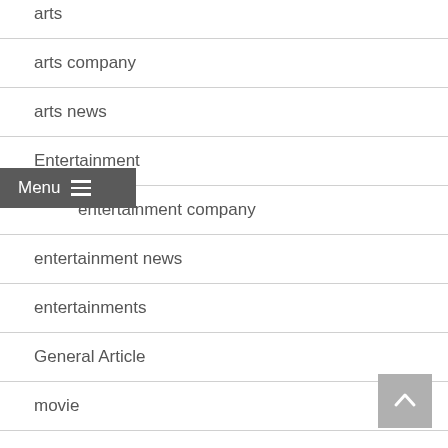arts
arts company
arts news
Entertainment
entertainment company
entertainment news
entertainments
General Article
movie